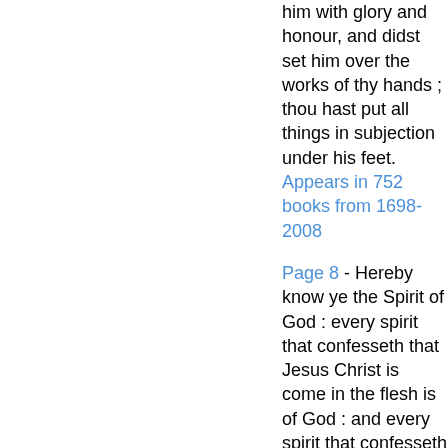him with glory and honour, and didst set him over the works of thy hands ; thou hast put all things in subjection under his feet.
Appears in 752 books from 1698-2008
Page 8 - Hereby know ye the Spirit of God : every spirit that confesseth that Jesus Christ is come in the flesh is of God : and every spirit that confesseth not that Jesus Christ is come in the flesh is not of God...
Appears in 771 books from 1651-2008
Page 29 - ROMANS p)AUL a servant of